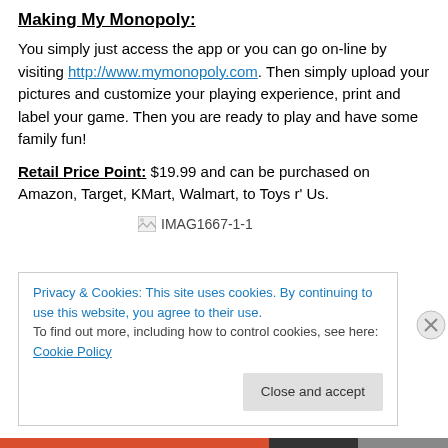Making My Monopoly:
You simply just access the app or you can go on-line by visiting http://www.mymonopoly.com. Then simply upload your pictures and customize your playing experience, print and label your game. Then you are ready to play and have some family fun!
Retail Price Point: $19.99 and can be purchased on Amazon, Target, KMart, Walmart, to Toys r' Us.
[Figure (photo): Image placeholder labeled IMAG1667-1-1]
Privacy & Cookies: This site uses cookies. By continuing to use this website, you agree to their use. To find out more, including how to control cookies, see here: Cookie Policy